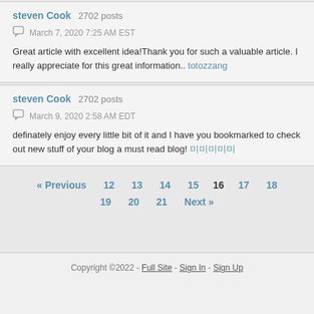steven Cook  2702 posts
March 7, 2020 7:25 AM EST
Great article with excellent idea!Thank you for such a valuable article. I really appreciate for this great information.. totozzang
steven Cook  2702 posts
March 9, 2020 2:58 AM EDT
definately enjoy every little bit of it and I have you bookmarked to check out new stuff of your blog a must read blog! 미미미미미
« Previous  12  13  14  15  16  17  18  19  20  21  Next »
Copyright ©2022  -  Full Site  -  Sign In  -  Sign Up